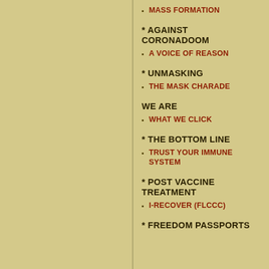MASS FORMATION
* AGAINST CORONADOOM
A VOICE OF REASON
* UNMASKING
THE MASK CHARADE
WE ARE
WHAT WE CLICK
* THE BOTTOM LINE
TRUST YOUR IMMUNE SYSTEM
* POST VACCINE TREATMENT
I-RECOVER (FLCCC)
* FREEDOM PASSPORTS